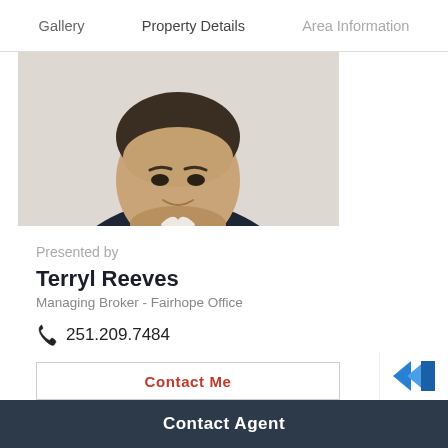Gallery   Property Details   Area Information
[Figure (photo): Headshot of real estate agent Terryl Reeves, a middle-aged man in a dark navy blazer and white shirt, smiling, against a light gray background.]
Presented by
Terryl Reeves
Managing Broker - Fairhope Office
251.209.7484
Contact Me
Contact Agent